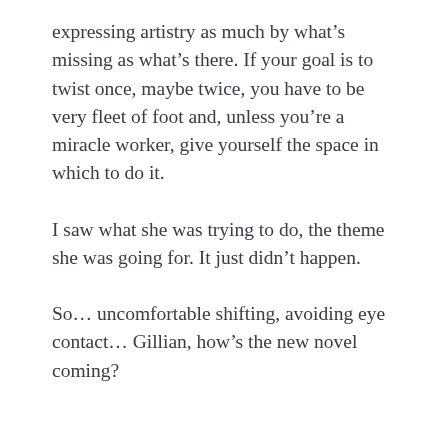expressing artistry as much by what's missing as what's there. If your goal is to twist once, maybe twice, you have to be very fleet of foot and, unless you're a miracle worker, give yourself the space in which to do it.
I saw what she was trying to do, the theme she was going for. It just didn't happen.
So… uncomfortable shifting, avoiding eye contact… Gillian, how's the new novel coming?